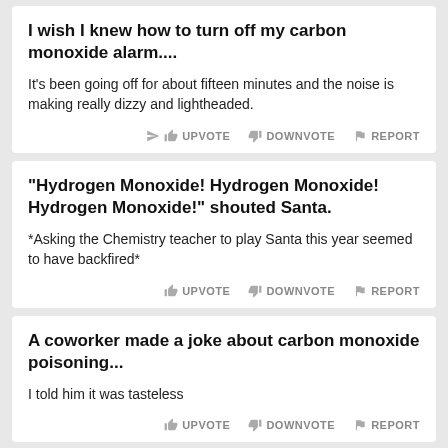I wish I knew how to turn off my carbon monoxide alarm....
It's been going off for about fifteen minutes and the noise is making really dizzy and lightheaded.
"Hydrogen Monoxide! Hydrogen Monoxide! Hydrogen Monoxide!" shouted Santa.
*Asking the Chemistry teacher to play Santa this year seemed to have backfired*
A coworker made a joke about carbon monoxide poisoning...
I told him it was tasteless